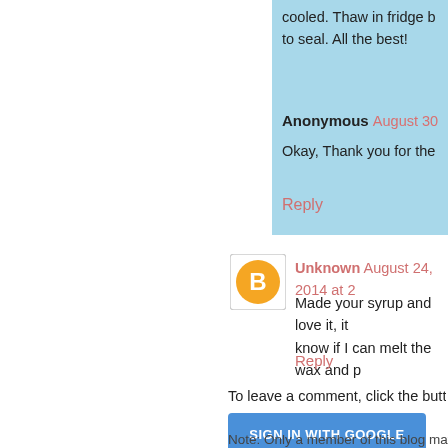cooled. Thaw in fridge b... to seal. All the best!
Anonymous August 30...
Okay, Thank you for the...
Reply
[Figure (illustration): Blogger avatar icon — orange circle with white B logo]
Unknown August 24, 2014 at 2...
Made your syrup and love it, it... know if I can melt the wax and p...
Reply
To leave a comment, click the butt...
SIGN IN WITH GOOGLE
Note: Only a member of this blog may...